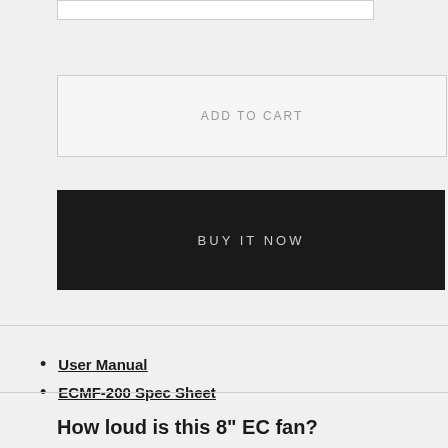[Figure (other): Top border of a UI box element, partially visible]
ADD TO CART
BUY IT NOW
User Manual
ECMF-200 Spec Sheet
How loud is this 8" EC fan?